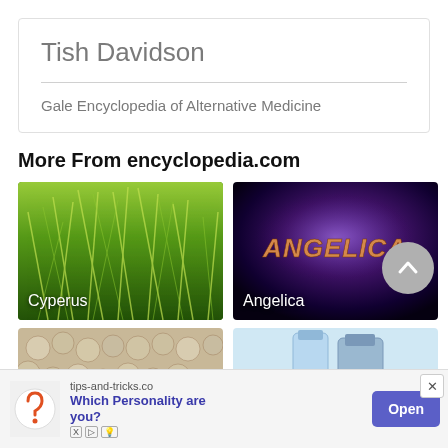Tish Davidson
Gale Encyclopedia of Alternative Medicine
More From encyclopedia.com
[Figure (photo): Photo of Cyperus grass plant with feathery green fronds, labeled 'Cyperus']
[Figure (photo): Dark purple background with metallic golden-orange text reading 'ANGELICA', labeled 'Angelica']
[Figure (photo): Close-up photo of seeds/grains]
[Figure (photo): Photo of bottles/containers]
tips-and-tricks.co Which Personality are you?